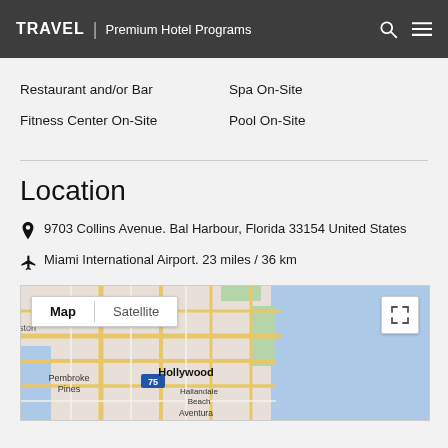TRAVEL | Premium Hotel Programs
Restaurant and/or Bar
Spa On-Site
Fitness Center On-Site
Pool On-Site
Location
9703 Collins Avenue. Bal Harbour, Florida 33154 United States
Miami International Airport. 23 miles / 36 km
[Figure (map): Google Map showing South Florida area including Hollywood, Pembroke Pines, Hallandale Beach, Aventura. Map/Satellite toggle buttons visible. Blue ocean on right side.]